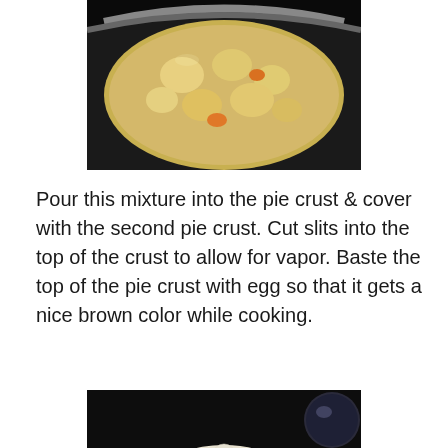[Figure (photo): Top portion of a cooking pot or pan with a stew mixture containing chunks of vegetables (potatoes, carrots) in a light-colored sauce, viewed from above against a dark background.]
Pour this mixture into the pie crust & cover with the second pie crust. Cut slits into the top of the crust to allow for vapor. Baste the top of the pie crust with egg so that it gets a nice brown color while cooking.
[Figure (photo): An unbaked pie with a crimped white pastry crust on top, showing small indentations/cuts, placed in a pie dish on a dark surface. A shiny orb or ball is visible in the upper right background.]